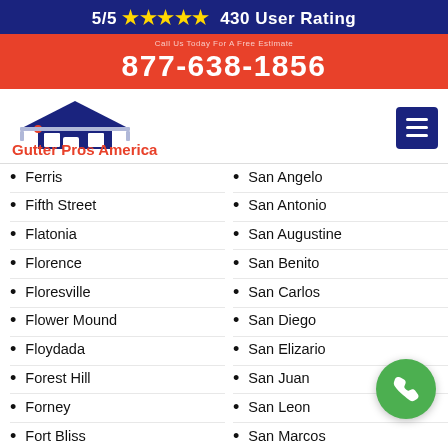5/5 ★★★★★ 430 User Rating
877-638-1856
[Figure (logo): Gutter Pros America logo with house/roof icon and red accent]
Ferris
Fifth Street
Flatonia
Florence
Floresville
Flower Mound
Floydada
Forest Hill
Forney
Fort Bliss
Fort Clark Springs
Fort Hancock
Fort Hood
San Angelo
San Antonio
San Augustine
San Benito
San Carlos
San Diego
San Elizario
San Juan
San Leon
San Marcos
San Saba
Sandy Oaks
Sanger